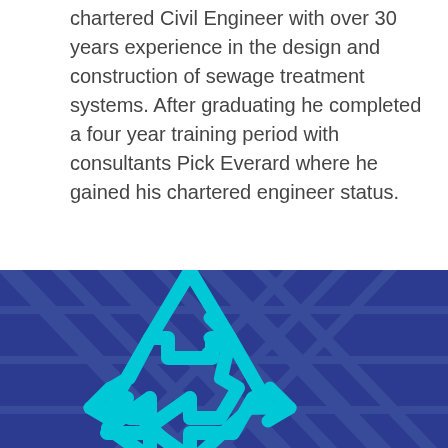chartered Civil Engineer with over 30 years experience in the design and construction of sewage treatment systems. After graduating he completed a four year training period with consultants Pick Everard where he gained his chartered engineer status.
[Figure (illustration): Dark blue background section with faint geometric/structural pattern overlay and a cyan recycling symbol icon in the lower left]